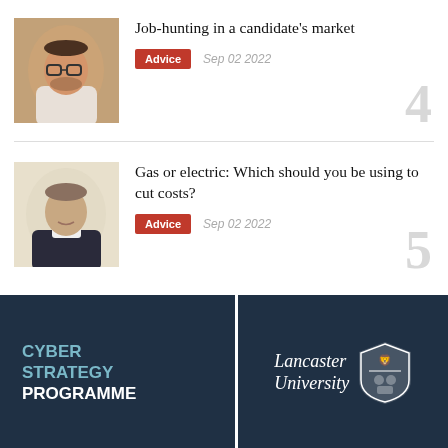[Figure (photo): Headshot of a man with glasses and beard, wearing a white shirt, warm indoor background]
Job-hunting in a candidate's market
Advice  Sep 02 2022
[Figure (photo): Headshot of a young man in a dark sweater and white shirt, light background]
Gas or electric: Which should you be using to cut costs?
Advice  Sep 02 2022
[Figure (illustration): Advertisement banner: dark blue background with 'CYBER STRATEGY PROGRAMME' text on left, Lancaster University logo on right]
Enable your business